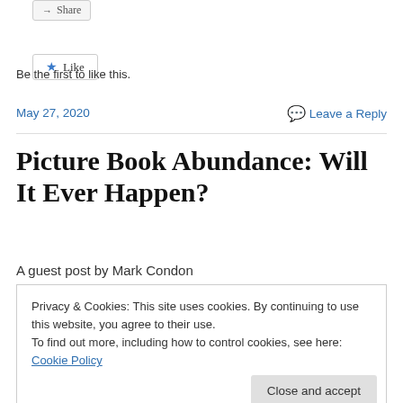[Figure (other): Share button with arrow icon]
[Figure (other): Like button with blue star icon]
Be the first to like this.
May 27, 2020
Leave a Reply
Picture Book Abundance: Will It Ever Happen?
A guest post by Mark Condon
Privacy & Cookies: This site uses cookies. By continuing to use this website, you agree to their use.
To find out more, including how to control cookies, see here: Cookie Policy
Close and accept
is one that everyone can endorse. Supporting it as a